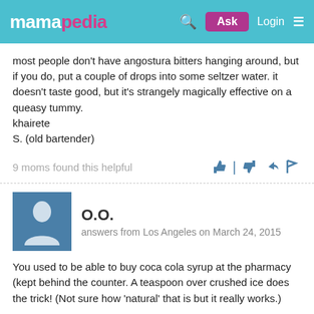mamapedia — Ask Login
most people don't have angostura bitters hanging around, but if you do, put a couple of drops into some seltzer water. it doesn't taste good, but it's strangely magically effective on a queasy tummy. khairete
S. (old bartender)
9 moms found this helpful
O.O.
answers from Los Angeles on March 24, 2015
You used to be able to buy coca cola syrup at the pharmacy (kept behind the counter. A teaspoon over crushed ice does the trick! (Not sure how 'natural' that is but it really works.)